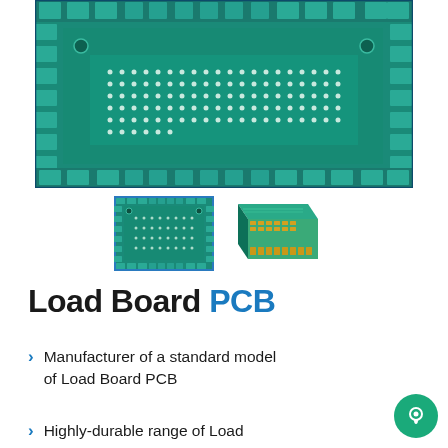[Figure (photo): Top-down photograph of a Load Board PCB (printed circuit board) showing teal/green circuit board with numerous connection pads, vias, and circuit traces arranged in a rectangular grid pattern]
[Figure (photo): Two thumbnail images: left shows a flat top-down view of the same Load Board PCB in teal/green; right shows an angled 3D perspective view of the PCB showing its thickness and gold/green connectors]
Load Board PCB
Manufacturer of a standard model of Load Board PCB
Highly-durable range of Load